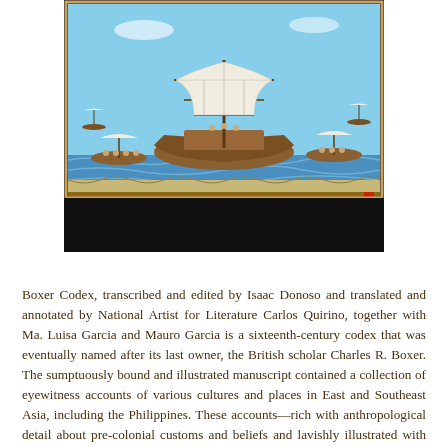[Figure (illustration): Historical illustrated manuscript image showing a large sailing ship with billowing white sails on blue water, surrounded by smaller boats with figures. The image has a decorative border and appears to be from a 16th-century codex. The lower portion of the image fades to black.]
Boxer Codex, transcribed and edited by Isaac Donoso and translated and annotated by National Artist for Literature Carlos Quirino, together with Ma. Luisa Garcia and Mauro Garcia is a sixteenth-century codex that was eventually named after its last owner, the British scholar Charles R. Boxer. The sumptuously bound and illustrated manuscript contained a collection of eyewitness accounts of various cultures and places in East and Southeast Asia, including the Philippines. These accounts—rich with anthropological detail about pre-colonial customs and beliefs and lavishly illustrated with depictions of native peoples in their traditional costumes—were compiled into a book to convince the king of Spain to launch further expeditions in the region.
In the decades since this manuscript was discovered in